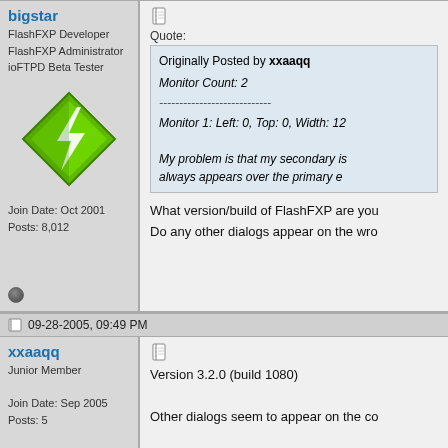bigstar
FlashFXP Developer
FlashFXP Administrator
ioFTPD Beta Tester
[Figure (logo): Green diamond-shaped FlashFXP logo with lightning bolt]
Join Date: Oct 2001
Posts: 8,012
Quote:
Originally Posted by xxaaqq
Monitor Count: 2
----------------------------
Monitor 1: Left: 0, Top: 0, Width: 12...
My problem is that my secondary is...
always appears over the primary e...
What version/build of FlashFXP are you...
Do any other dialogs appear on the wro...
09-28-2005, 09:49 PM
xxaaqq
Junior Member

Join Date: Sep 2005
Posts: 5
Version 3.2.0 (build 1080)

Other dialogs seem to appear on the co...